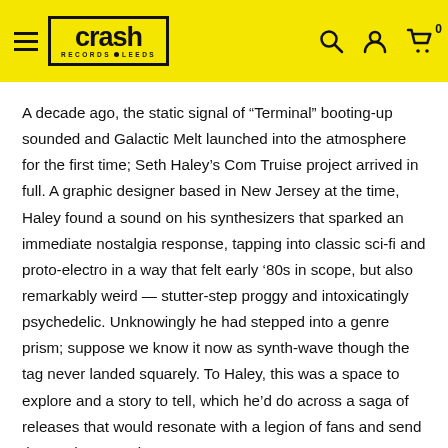Crash Records Leeds — navigation header with logo, search, account, and cart icons
A decade ago, the static signal of “Terminal” booting-up sounded and Galactic Melt launched into the atmosphere for the first time; Seth Haley’s Com Truise project arrived in full. A graphic designer based in New Jersey at the time, Haley found a sound on his synthesizers that sparked an immediate nostalgia response, tapping into classic sci-fi and proto-electro in a way that felt early ’80s in scope, but also remarkably weird — stutter-step proggy and intoxicatingly psychedelic. Unknowingly he had stepped into a genre prism; suppose we know it now as synth-wave though the tag never landed squarely. To Haley, this was a space to explore and a story to tell, which he’d do across a saga of releases that would resonate with a legion of fans and send the producer touring